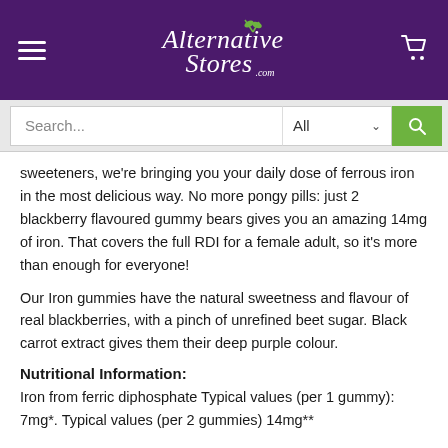Alternative Stores .com
sweeteners, we're bringing you your daily dose of ferrous iron in the most delicious way. No more pongy pills: just 2 blackberry flavoured gummy bears gives you an amazing 14mg of iron. That covers the full RDI for a female adult, so it's more than enough for everyone!
Our Iron gummies have the natural sweetness and flavour of real blackberries, with a pinch of unrefined beet sugar. Black carrot extract gives them their deep purple colour.
Nutritional Information:
Iron from ferric diphosphate Typical values (per 1 gummy): 7mg*. Typical values (per 2 gummies) 14mg**